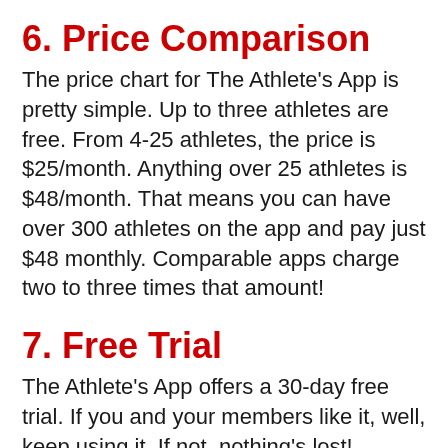6. Price Comparison
The price chart for The Athlete’s App is pretty simple. Up to three athletes are free. From 4-25 athletes, the price is $25/month. Anything over 25 athletes is $48/month. That means you can have over 300 athletes on the app and pay just $48 monthly. Comparable apps charge two to three times that amount!
7. Free Trial
The Athlete’s App offers a 30-day free trial. If you and your members like it, well, keep using it. If not, nothing’s lost!